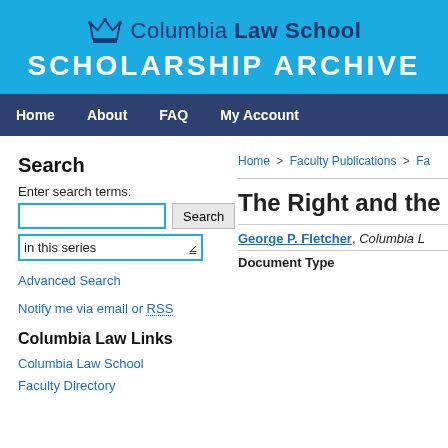[Figure (logo): Columbia Law School logo with crown icon and Scholarship Archive header on blue background]
Home   About   FAQ   My Account
Search
Enter search terms:
in this series
Advanced Search
Notify me via email or RSS
Columbia Law Links
Columbia Law School
Faculty Directory
Home > Faculty Publications > Fa
The Right and the
George P. Fletcher, Columbia L
Document Type